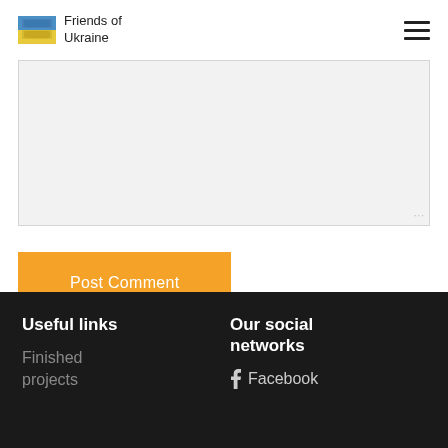Friends of Ukraine
[Figure (other): Comment text area input box, light gray background with resize handle]
Post Comment
Useful links
Finished projects
Our social networks
Facebook